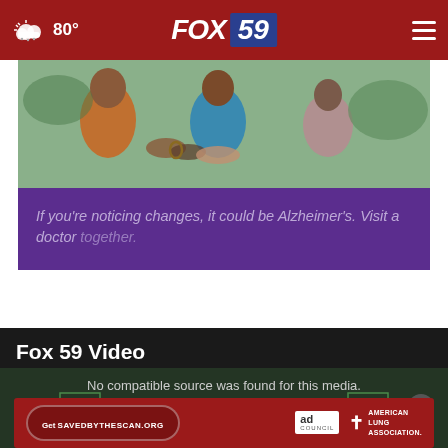80° FOX 59
[Figure (photo): Three women sitting together outdoors, holding hands, one wearing a blue dress and one in orange/red clothing]
If you're noticing changes, it could be Alzheimer's. Visit a doctor together.
Fox 59 Video
No compatible source was found for this media.
[Figure (screenshot): Ad banner: Get SAVEDBYTHESCAN.ORG - Ad Council - American Lung Association]